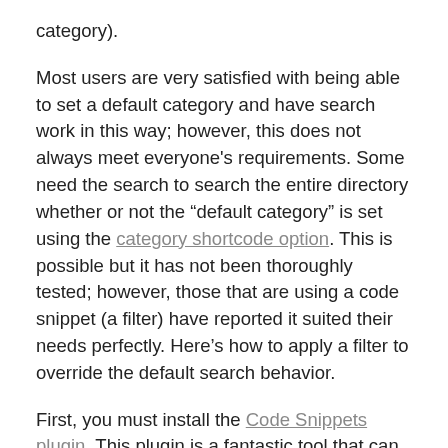category).
Most users are very satisfied with being able to set a default category and have search work in this way; however, this does not always meet everyone's requirements. Some need the search to search the entire directory whether or not the “default category” is set using the category shortcode option. This is possible but it has not been thoroughly tested; however, those that are using a code snippet (a filter) have reported it suited their needs perfectly. Here’s how to apply a filter to override the default search behavior.
First, you must install the Code Snippets plugin. This plugin is a fantastic tool that can be used to add update-safe WordPress actions and filters. When searching howtos on the web you will very often come across a tutorial that says something like add